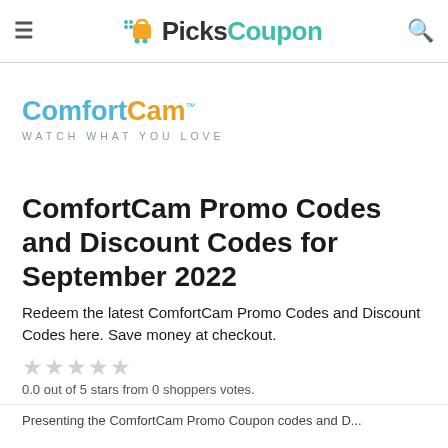PicksCoupon
[Figure (logo): ComfortCam logo with tagline 'Watch what you love']
ComfortCam Promo Codes and Discount Codes for September 2022
Redeem the latest ComfortCam Promo Codes and Discount Codes here. Save money at checkout.
0.0 out of 5 stars from 0 shoppers votes.
Presenting the ComfortCam Promo Coupon codes...